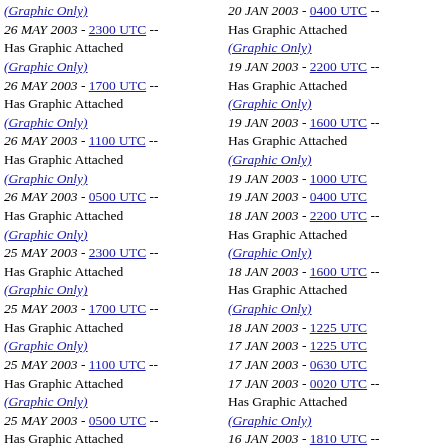(Graphic Only)
26 MAY 2003 - 2300 UTC -- Has Graphic Attached (Graphic Only)
26 MAY 2003 - 1700 UTC -- Has Graphic Attached (Graphic Only)
26 MAY 2003 - 1100 UTC -- Has Graphic Attached (Graphic Only)
26 MAY 2003 - 0500 UTC -- Has Graphic Attached (Graphic Only)
25 MAY 2003 - 2300 UTC -- Has Graphic Attached (Graphic Only)
25 MAY 2003 - 1700 UTC -- Has Graphic Attached (Graphic Only)
25 MAY 2003 - 1100 UTC -- Has Graphic Attached (Graphic Only)
25 MAY 2003 - 0500 UTC -- Has Graphic Attached (Graphic Only)
25 MAY 2003 - 0011 UTC -- Has Graphic Attached (Graphic Only)
24 MAY 2003 - 2255 UTC -- Has Graphic Attached
20 JAN 2003 - 0400 UTC -- Has Graphic Attached (Graphic Only)
19 JAN 2003 - 2200 UTC -- Has Graphic Attached (Graphic Only)
19 JAN 2003 - 1600 UTC -- Has Graphic Attached (Graphic Only)
19 JAN 2003 - 1000 UTC
19 JAN 2003 - 0400 UTC
18 JAN 2003 - 2200 UTC -- Has Graphic Attached (Graphic Only)
18 JAN 2003 - 1600 UTC -- Has Graphic Attached (Graphic Only)
18 JAN 2003 - 1225 UTC
17 JAN 2003 - 1225 UTC
17 JAN 2003 - 0630 UTC
17 JAN 2003 - 0020 UTC -- Has Graphic Attached (Graphic Only)
16 JAN 2003 - 1810 UTC -- Has Graphic Attached (Graphic Only)
16 JAN 2003 - 1220 UTC
16 JAN 2003 - 0630 UTC
16 JAN 2003 - 0015 UTC -- Has Graphic Attached